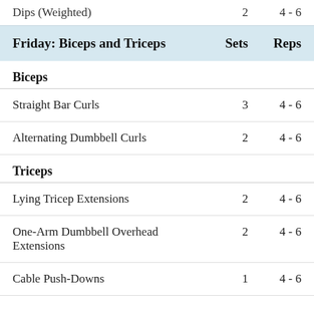| Friday: Biceps and Triceps | Sets | Reps |
| --- | --- | --- |
| Dips (Weighted) | 2 | 4 - 6 |
| Biceps |  |  |
| Straight Bar Curls | 3 | 4 - 6 |
| Alternating Dumbbell Curls | 2 | 4 - 6 |
| Triceps |  |  |
| Lying Tricep Extensions | 2 | 4 - 6 |
| One-Arm Dumbbell Overhead Extensions | 2 | 4 - 6 |
| Cable Push-Downs | 1 | 4 - 6 |